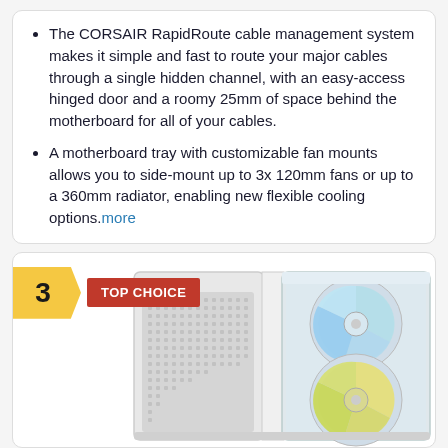The CORSAIR RapidRoute cable management system makes it simple and fast to route your major cables through a single hidden channel, with an easy-access hinged door and a roomy 25mm of space behind the motherboard for all of your cables.
A motherboard tray with customizable fan mounts allows you to side-mount up to 3x 120mm fans or up to a 360mm radiator, enabling new flexible cooling options.more
[Figure (photo): White PC case (ATX mid-tower) with a tempered glass side panel showing two RGB fans with yellow/cyan glow, mesh front panel on left side, ranking badge showing '3 TOP CHOICE' in yellow and red]